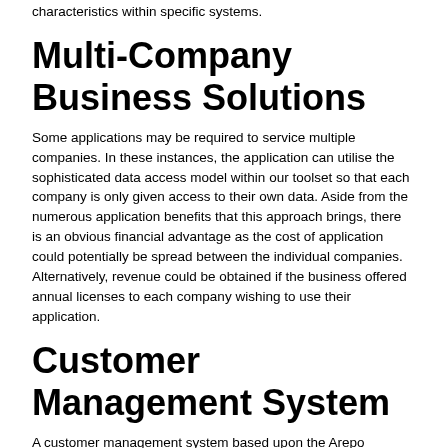are easy to realise. The following examples relate to characteristics within specific systems.
Multi-Company Business Solutions
Some applications may be required to service multiple companies. In these instances, the application can utilise the sophisticated data access model within our toolset so that each company is only given access to their own data. Aside from the numerous application benefits that this approach brings, there is an obvious financial advantage as the cost of application could potentially be spread between the individual companies. Alternatively, revenue could be obtained if the business offered annual licenses to each company wishing to use their application.
Customer Management System
A customer management system based upon the Arepo